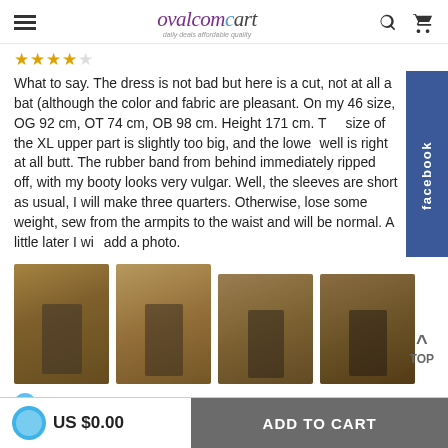ovalcomcart - daily deals affordable quality
What to say. The dress is not bad but here is a cut, not at all a bat (although the color and fabric are pleasant. On my 46 size, OG 92 cm, OT 74 cm, OB 98 cm. Height 171 cm. The size of the XL upper part is slightly too big, and the lower well is right at all butt. The rubber band from behind immediately ripped off, with my booty looks very vulgar. Well, the sleeves are short as usual, I will make three quarters. Otherwise, lose some weight, sew from the armpits to the waist and will be normal. A little later I will add a photo.
[Figure (photo): Four photos of a person wearing the reviewed dress, shown from different angles]
US $0.00
ADD TO CART